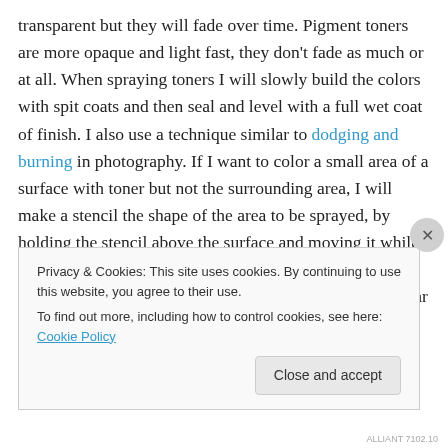transparent but they will fade over time. Pigment toners are more opaque and light fast, they don't fade as much or at all. When spraying toners I will slowly build the colors with spit coats and then seal and level with a full wet coat of finish. I also use a technique similar to dodging and burning in photography. If I want to color a small area of a surface with toner but not the surrounding area, I will make a stencil the shape of the area to be sprayed, by holding the stencil above the surface and moving it while you spray, the edges of the sprayed area will be feathered and blend into the surrounding area. This would be similar to
Privacy & Cookies: This site uses cookies. By continuing to use this website, you agree to their use.
To find out more, including how to control cookies, see here: Cookie Policy
Close and accept